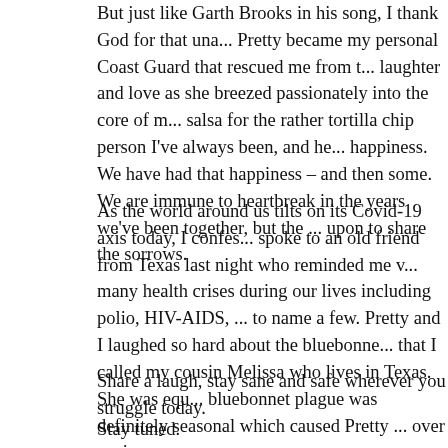But just like Garth Brooks in his song, I thank God for that una... Pretty became my personal Coast Guard that rescued me from t... laughter and love as she breezed passionately into the core of m... salsa for the rather tortilla chip person I've always been, and he... happiness. We have had that happiness – and then some. We are immune to heartbreak in the years we've been together, but the ... upon to share the sorrows.
As the world around us tilts on its Covid-19 axis today, I confes... spoke to an old friend from Texas last night who reminded me v... many health crises during our lives including polio, HIV-AIDS, ... to name a few. Pretty and I laughed so hard about the bluebonne... that I called my cousin Melissa who lives in Texas. She was equ... bluebonnet plague was definitely seasonal which caused Pretty ... over again.
Share a laugh, stay sane and safe wherever you struggle today.
Stay tuned.